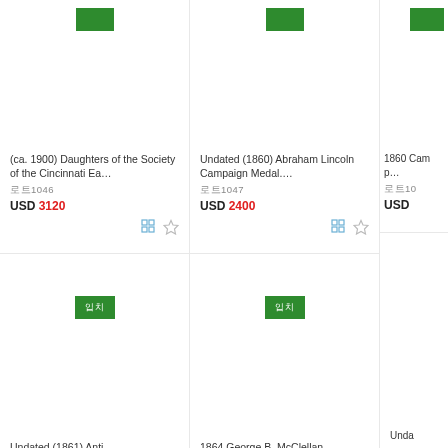[Figure (screenshot): Green button at top of first column, cropped at top]
(ca. 1900) Daughters of the Society of the Cincinnati Ea…
로트1046
USD 3120
[Figure (screenshot): Green button at top of second column, cropped at top]
Undated (1860) Abraham Lincoln Campaign Medal.…
로트1047
USD 2400
1860 Camp…
로트10…
USD
[Figure (screenshot): Green 입찰 button for bottom row first column]
[Figure (screenshot): Green 입찰 button for bottom row second column]
Undated (1861) Anti-
1864 George B. McClellan
Unda